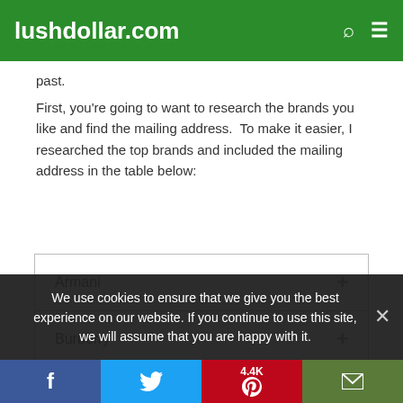lushdollar.com
past.
First, you're going to want to research the brands you like and find the mailing address.  To make it easier, I researched the top brands and included the mailing address in the table below:
| Armani | + |
| Burberry | + |
| Calvin Klein | + |
We use cookies to ensure that we give you the best experience on our website. If you continue to use this site, we will assume that you are happy with it.
f  [twitter]  4.4K [pinterest]  [email]